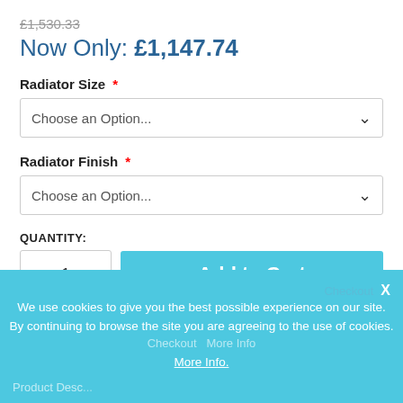£1,530.33
Now Only: £1,147.74
Radiator Size *
Choose an Option...
Radiator Finish *
Choose an Option...
QUANTITY:
1
Add to Cart
- OR -
We use cookies to give you the best possible experience on our site. By continuing to browse the site you are agreeing to the use of cookies. More Info.
Product Desc...